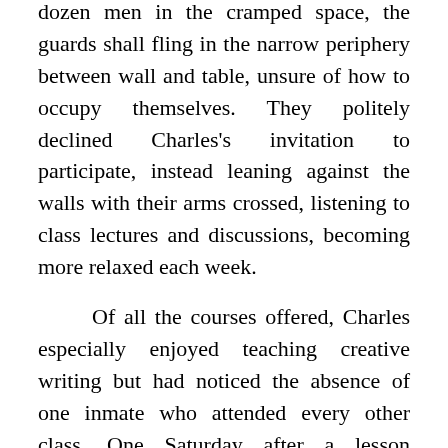dozen men in the cramped space, the guards shall fling in the narrow periphery between wall and table, unsure of how to occupy themselves. They politely declined Charles's invitation to participate, instead leaning against the walls with their arms crossed, listening to class lectures and discussions, becoming more relaxed each week.
Of all the courses offered, Charles especially enjoyed teaching creative writing but had noticed the absence of one inmate who attended every other class. One Saturday after a lesson focusing on the Civil War he asked Lyle--a polite, attentive young man--if he'd have any interest in speed reading. Lyle looked surprised, but said that he'd come if Charles taught the class.